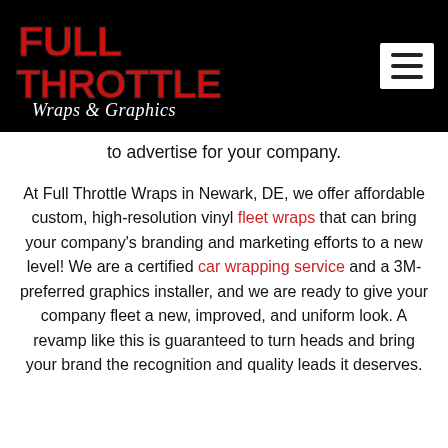[Figure (logo): Full Throttle Wraps & Graphics logo - red and black bold text with script subtitle on black background]
to advertise for your company.
At Full Throttle Wraps in Newark, DE, we offer affordable custom, high-resolution vinyl fleet wraps that can bring your company's branding and marketing efforts to a new level! We are a certified car wrapping service and a 3M-preferred graphics installer, and we are ready to give your company fleet a new, improved, and uniform look. A revamp like this is guaranteed to turn heads and bring your brand the recognition and quality leads it deserves.